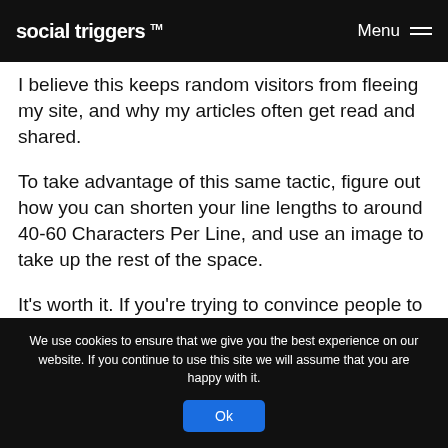social triggers ™   Menu
I believe this keeps random visitors from fleeing my site, and why my articles often get read and shared.
To take advantage of this same tactic, figure out how you can shorten your line lengths to around 40-60 Characters Per Line, and use an image to take up the rest of the space.
It's worth it. If you're trying to convince people to buy your stuff or subscribe to your newsletter, you need to get them read your offer, and that's why I
We use cookies to ensure that we give you the best experience on our website. If you continue to use this site we will assume that you are happy with it. Ok